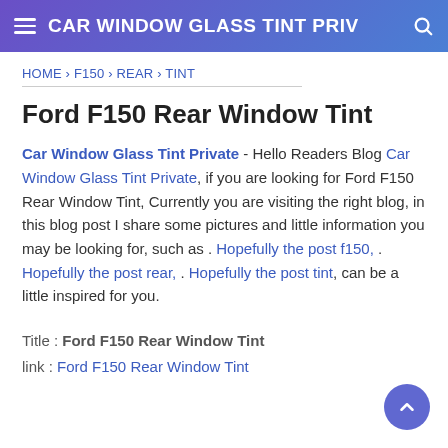CAR WINDOW GLASS TINT PRIV
HOME › F150 › REAR › TINT
Ford F150 Rear Window Tint
Car Window Glass Tint Private - Hello Readers Blog Car Window Glass Tint Private, if you are looking for Ford F150 Rear Window Tint, Currently you are visiting the right blog, in this blog post I share some pictures and little information you may be looking for, such as . Hopefully the post f150, . Hopefully the post rear, . Hopefully the post tint, can be a little inspired for you.
Title : Ford F150 Rear Window Tint
link : Ford F150 Rear Window Tint